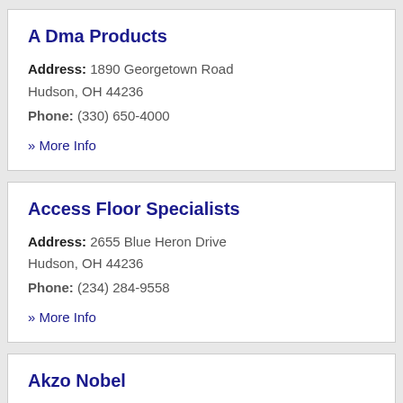A Dma Products
Address: 1890 Georgetown Road
Hudson, OH 44236
Phone: (330) 650-4000
» More Info
Access Floor Specialists
Address: 2655 Blue Heron Drive
Hudson, OH 44236
Phone: (234) 284-9558
» More Info
Akzo Nobel